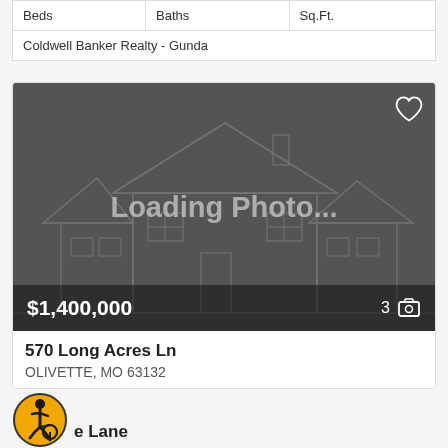| Beds | Baths | Sq.Ft. |
| --- | --- | --- |
| Coldwell Banker Realty - Gunda |  |  |
[Figure (photo): Real estate listing card showing a 'Loading Photo...' placeholder with a house outline illustration on dark gray background, price $1,400,000 and photo count 3]
570 Long Acres Ln
OLIVETTE, MO 63132
e Lane